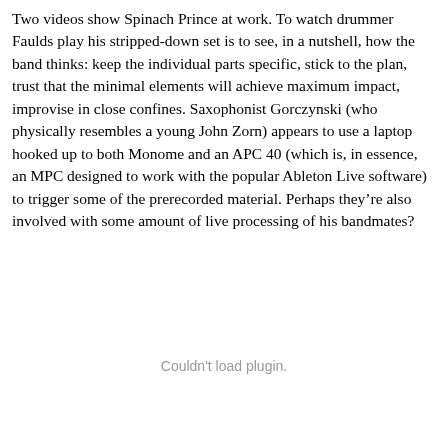Two videos show Spinach Prince at work. To watch drummer Faulds play his stripped-down set is to see, in a nutshell, how the band thinks: keep the individual parts specific, stick to the plan, trust that the minimal elements will achieve maximum impact, improvise in close confines. Saxophonist Gorczynski (who physically resembles a young John Zorn) appears to use a laptop hooked up to both Monome and an APC 40 (which is, in essence, an MPC designed to work with the popular Ableton Live software) to trigger some of the prerecorded material. Perhaps they're also involved with some amount of live processing of his bandmates?
Couldn't load plugin.